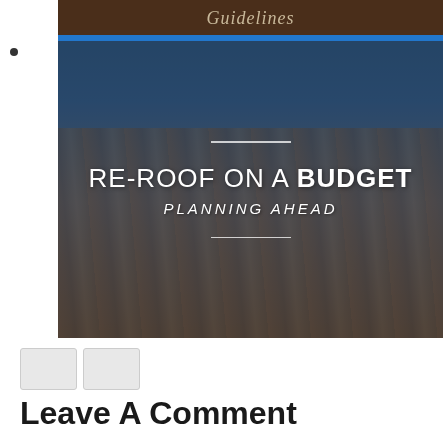•
[Figure (photo): A re-roofing guide image showing clay roof tiles with a dark blue sky background. Text overlay reads 'RE-ROOF ON A BUDGET' and 'PLANNING AHEAD' with decorative horizontal lines above and below. A brown header bar at top shows 'Guidelines' in italic text, with a blue horizontal rule below it.]
[Figure (other): Two navigation button squares (previous/next) in light gray]
Leave A Comment